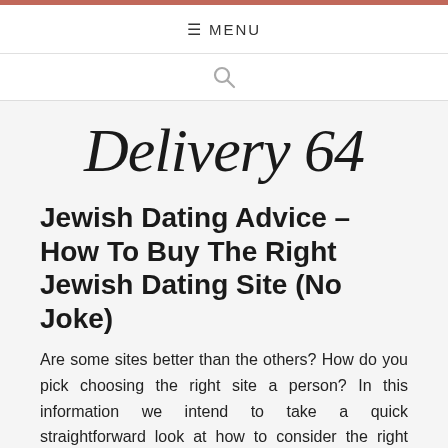≡ MENU
[Figure (screenshot): Search icon in navigation bar]
Delivery 64
Jewish Dating Advice – How To Buy The Right Jewish Dating Site (No Joke)
Are some sites better than the others? How do you pick choosing the right site a person? In this information we intend to take a quick straightforward look at how to consider the right dating site for Your distinctive wants, needs and dating desires. Curious to learn? Great, keep reading as we take a